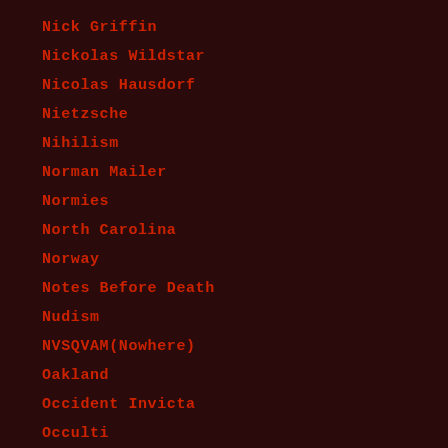Nick Griffin
Nickolas Wildstar
Nicolas Hausdorf
Nietzsche
Nihilism
Norman Mailer
Normies
North Carolina
Norway
Notes Before Death
Nudism
NVSQVAM(Nowhere)
Oakland
Occident Invicta
Occulti...